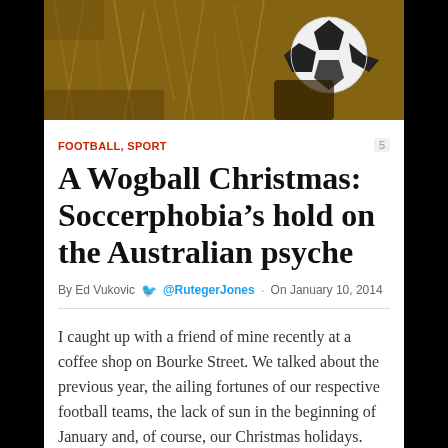[Figure (photo): A soccer ball resting on dry brown grass, photographed from above. Black and white ball visible in upper right area of the image.]
FOOTBALL, SPORT
A Wogball Christmas: Soccerphobia's hold on the Australian psyche
By Ed Vukovic  @RutegerJones  ·  On January 10, 2014
I caught up with a friend of mine recently at a coffee shop on Bourke Street. We talked about the previous year, the ailing fortunes of our respective football teams, the lack of sun in the beginning of January and, of course, our Christmas holidays.
I listened as my friend told me about his